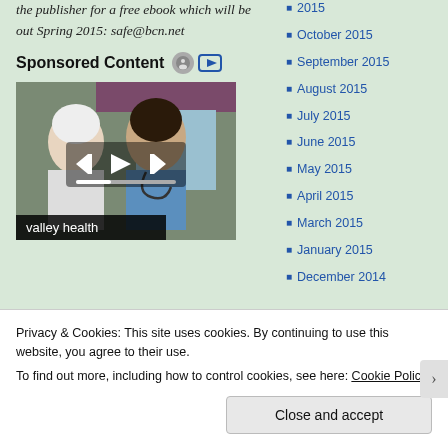the publisher for a free ebook which will be out Spring 2015: safe@bcn.net
Sponsored Content
[Figure (photo): Video thumbnail showing a nurse in blue scrubs with a stethoscope talking to an elderly patient, with video playback controls overlaid. Label at bottom reads 'valley health'.]
2015
October 2015
September 2015
August 2015
July 2015
June 2015
May 2015
April 2015
March 2015
January 2015
December 2014
Privacy & Cookies: This site uses cookies. By continuing to use this website, you agree to their use.
To find out more, including how to control cookies, see here: Cookie Policy